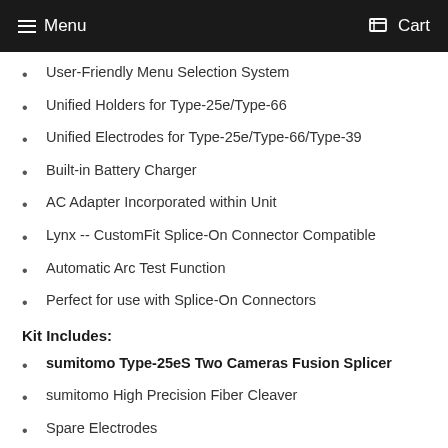Menu   Cart
User-Friendly Menu Selection System
Unified Holders for Type-25e/Type-66
Unified Electrodes for Type-25e/Type-66/Type-39
Built-in Battery Charger
AC Adapter Incorporated within Unit
Lynx -- CustomFit Splice-On Connector Compatible
Automatic Arc Test Function
Perfect for use with Splice-On Connectors
Kit Includes:
sumitomo Type-25eS Two Cameras Fusion Splicer
sumitomo High Precision Fiber Cleaver
Spare Electrodes